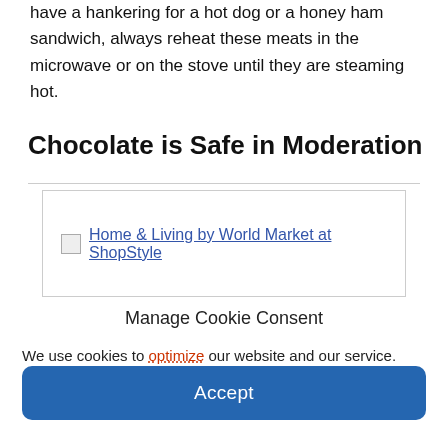have a hankering for a hot dog or a honey ham sandwich, always reheat these meats in the microwave or on the stove until they are steaming hot.
Chocolate is Safe in Moderation
[Figure (other): Advertisement box with broken image icon and link: Home & Living by World Market at ShopStyle]
Manage Cookie Consent
We use cookies to optimize our website and our service.
Accept